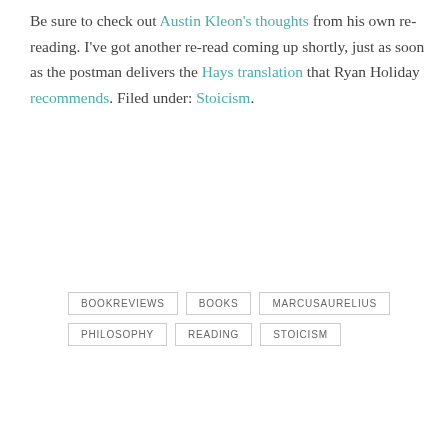Be sure to check out Austin Kleon's thoughts from his own re-reading. I've got another re-read coming up shortly, just as soon as the postman delivers the Hays translation that Ryan Holiday recommends. Filed under: Stoicism.
BOOKREVIEWS
BOOKS
MARCUSAURELIUS
PHILOSOPHY
READING
STOICISM
‹ PREVIOUS
Cyberbooks
NEXT ›
The Best Books I Read, 2014
Search …